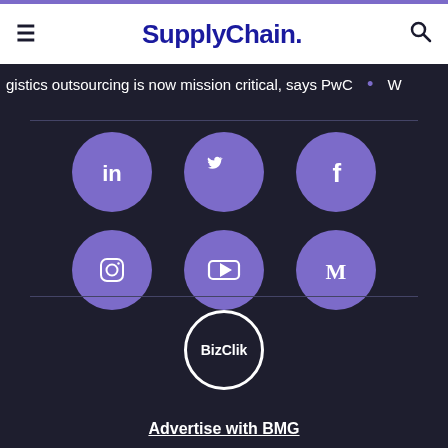SupplyChain.
gistics outsourcing is now mission critical, says PwC
[Figure (illustration): Six purple circular social media icons arranged in a 3x2 grid: LinkedIn, Twitter, Facebook (top row); Instagram, YouTube, Medium (bottom row)]
[Figure (logo): BizClik circular logo with white border on dark background]
Advertise with BMG